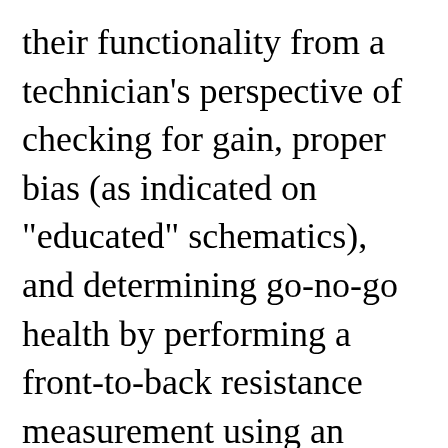their functionality from a technician's perspective of checking for gain, proper bias (as indicated on "educated" schematics), and determining go-no-go health by performing a front-to-back resistance measurement using an ohmmeter. Holes, energy